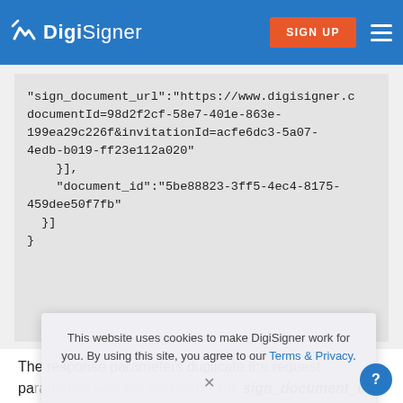DigiSigner — SIGN UP
"sign_document_url":"https://www.digisigner.c
documentId=98d2f2cf-58e7-401e-863e-
199ea29c226f&invitationId=acfe6dc3-5a07-
4edb-b019-ff23e112a020"
    }],
    "document_id":"5be88823-3ff5-4ec4-8175-
459dee50f7fb"
  }]
}
The response parameters duplicate the request parameters with the addition of the sign_document_url. This parameter represents the URL of the signature page to which a particular